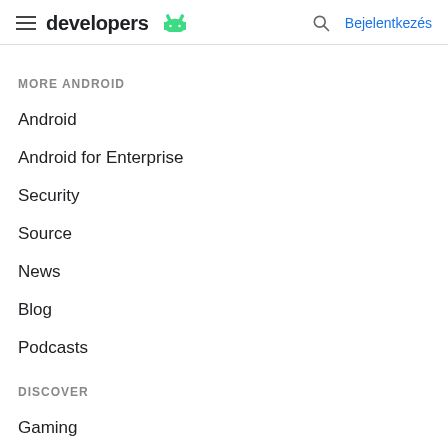developers  Bejelentkezés
MORE ANDROID
Android
Android for Enterprise
Security
Source
News
Blog
Podcasts
DISCOVER
Gaming
Machine Learning